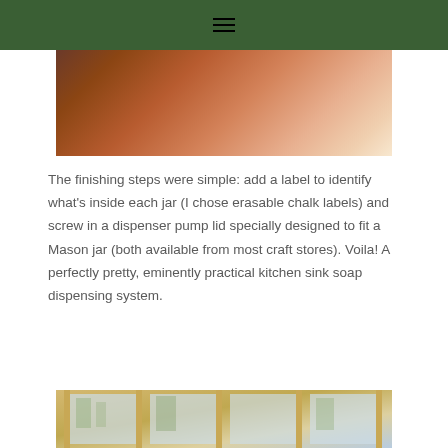≡
[Figure (photo): Close-up photo of hands over a jar, showing finishing steps of the soap dispensing project. Orange/brown tones with a light background.]
The finishing steps were simple: add a label to identify what's inside each jar (I chose erasable chalk labels) and screw in a dispenser pump lid specially designed to fit a Mason jar (both available from most craft stores). Voila! A perfectly pretty, eminently practical kitchen sink soap dispensing system.
[Figure (photo): Bottom photo showing a window with wooden frame and glass panes, with trees visible outside.]